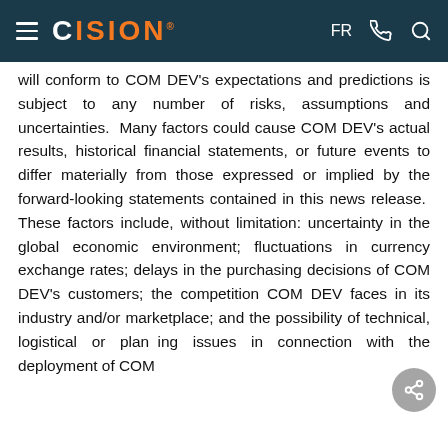CISION — FR
will conform to COM DEV's expectations and predictions is subject to any number of risks, assumptions and uncertainties. Many factors could cause COM DEV's actual results, historical financial statements, or future events to differ materially from those expressed or implied by the forward-looking statements contained in this news release. These factors include, without limitation: uncertainty in the global economic environment; fluctuations in currency exchange rates; delays in the purchasing decisions of COM DEV's customers; the competition COM DEV faces in its industry and/or marketplace; and the possibility of technical, logistical or planning issues in connection with the deployment of COM